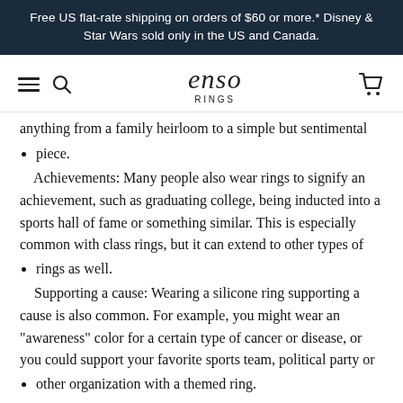Free US flat-rate shipping on orders of $60 or more.* Disney & Star Wars sold only in the US and Canada.
[Figure (logo): Enso Rings logo with hamburger menu and search icon on left, cart icon on right]
piece.
Achievements: Many people also wear rings to signify an achievement, such as graduating college, being inducted into a sports hall of fame or something similar. This is especially common with class rings, but it can extend to other types of rings as well.
Supporting a cause: Wearing a silicone ring supporting a cause is also common. For example, you might wear an "awareness" color for a certain type of cancer or disease, or you could support your favorite sports team, political party or other organization with a themed ring.